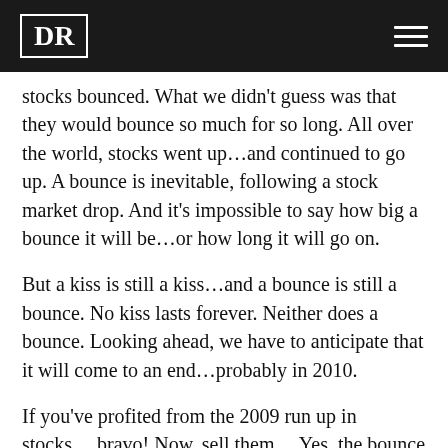DR
stocks bounced. What we didn't guess was that they would bounce so much for so long. All over the world, stocks went up…and continued to go up. A bounce is inevitable, following a stock market drop. And it's impossible to say how big a bounce it will be…or how long it will go on.
But a kiss is still a kiss…and a bounce is still a bounce. No kiss lasts forever. Neither does a bounce. Looking ahead, we have to anticipate that it will come to an end…probably in 2010.
If you've profited from the 2009 run up in stocks… bravo! Now, sell them… Yes, the bounce could continue. But it's not worth the risk.